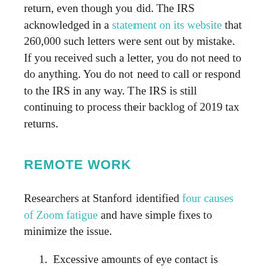return, even though you did. The IRS acknowledged in a statement on its website that 260,000 such letters were sent out by mistake. If you received such a letter, you do not need to do anything. You do not need to call or respond to the IRS in any way. The IRS is still continuing to process their backlog of 2019 tax returns.
REMOTE WORK
Researchers at Stanford identified four causes of Zoom fatigue and have simple fixes to minimize the issue.
Excessive amounts of eye contact is highly intense. Solution: Reduce the size of the Zoom window by taking it out of full-screen mode.
Seeing yourself on-camera is exhausting.